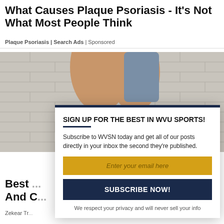What Causes Plaque Psoriasis - It's Not What Most People Think
Plaque Psoriasis | Search Ads | Sponsored
[Figure (photo): Close-up photo of a person's legs wearing pink sneakers against a white brick wall background]
SIGN UP FOR THE BEST IN WVU SPORTS!
Subscribe to WVSN today and get all of our posts directly in your inbox the second they're published.
Enter your email here
SUBSCRIBE NOW!
We respect your privacy and will never sell your info
Best ... And C...
Zekear Tr...